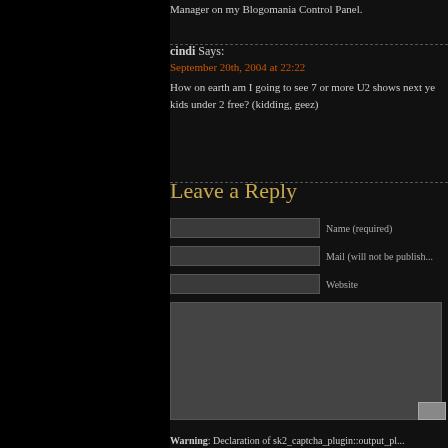Manager on my Blogomania Control Panel.
cindi Says:
September 20th, 2004 at 22:22

How on earth am I going to see 7 or more U2 shows next ye... kids under 2 free? (kidding, geez)
Leave a Reply
Name (required)
Mail (will not be publish...
Website
Warning: Declaration of sk2_captcha_plugin::output_pl...